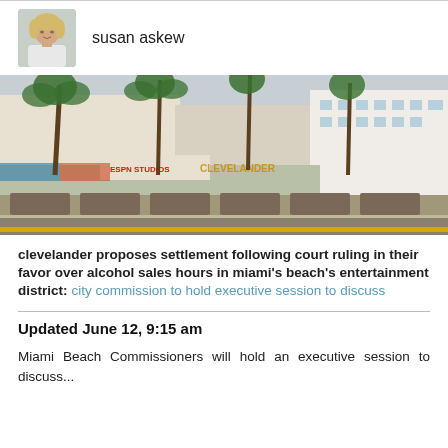[Figure (photo): Headshot photo of author Susan Askew, a blonde woman in a white top]
susan askew
[Figure (photo): Street-level color photograph of the Clevelander hotel area on Miami Beach, showing palm trees, colorful storefronts including ESPN Studios, and Art Deco architecture]
clevelander proposes settlement following court ruling in their favor over alcohol sales hours in miami's beach's entertainment district:  city commission to hold executive session to discuss
Updated June 12, 9:15 am
Miami Beach Commissioners will hold an executive session to discuss...